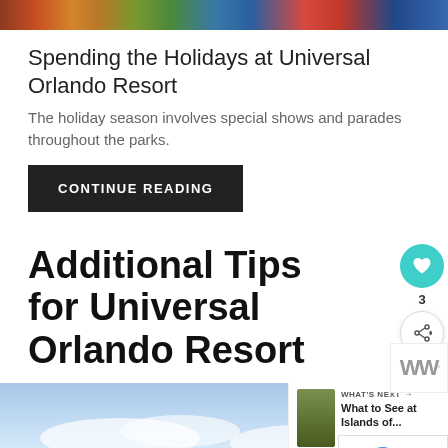[Figure (photo): Colorful photo strip of Universal Orlando Resort with festive decorations]
Spending the Holidays at Universal Orlando Resort
The holiday season involves special shows and parades throughout the parks.
CONTINUE READING
Additional Tips for Universal Orlando Resort
[Figure (photo): Sky with clouds, partial What's Next overlay showing Islands of... with a thumbnail of trees/nature]
[Figure (screenshot): Ad banner: You can help hungry kids. No Kid Hungry. LEARN HOW button. With close X button.]